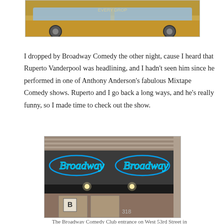[Figure (photo): Partial view of a yellow vintage car, showing the roof and windows area]
I dropped by Broadway Comedy the other night, cause I heard that Ruperto Vanderpool was headlining, and I hadn't seen him since he performed in one of Anthony Anderson's fabulous Mixtape Comedy shows. Ruperto and I go back a long ways, and he's really funny, so I made time to check out the show.
[Figure (photo): The Broadway Comedy Club entrance on West 53rd Street, showing blue neon 'Broadway' signs on a dark awning above glass doors, brick wall surrounding, and the number 318 visible.]
The Broadway Comedy Club entrance on West 53rd Street in